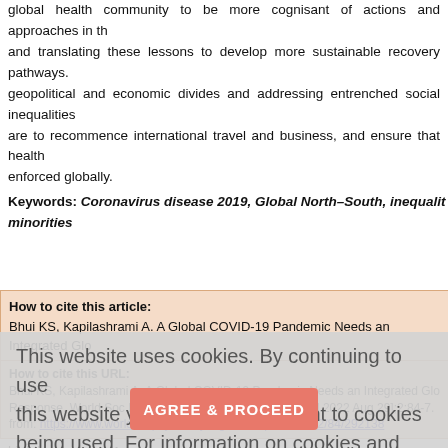global health community to be more cognisant of actions and approaches in the and translating these lessons to develop more sustainable recovery pathways. geopolitical and economic divides and addressing entrenched social inequalities are to recommence international travel and business, and ensure that health enforced globally.
Keywords: Coronavirus disease 2019, Global North–South, inequalit minorities
How to cite this article:
Bhui KS, Kapilashrami A. A Global COVID-19 Pandemic Needs an Integrated Glo Response. World Soc Psychiatry 2020;2:84-7
How to cite this URL:
Bhui KS, Kapilashrami A. A Global COVID-19 Pandemic Needs an Integrated Glo Response. World Soc Psychiatry [serial online] 2020 [cited 2022 Aug 29];2:84-7. from: https://www.worldsocpsychiatry.org/text.asp?2020/2/2/84/292138
This website uses cookies. By continuing to use this website you are giving consent to cookies being used. For information on cookies and how you can disable them visit our
Privacy and Cookie Policy.
AGREE & PROCEED
The coronavirus disease 2019 (COVID-19) pandemic is leading to very high leve mortality in high- and low-income countries, albeit the levels, timing, and re countries. Comparisons of crude death rates across countries do not accommoda and gender structures, nor variations in other risk factors such as social inequal density, and demographic (e.g., age structure and at-risk populations), nor the ba